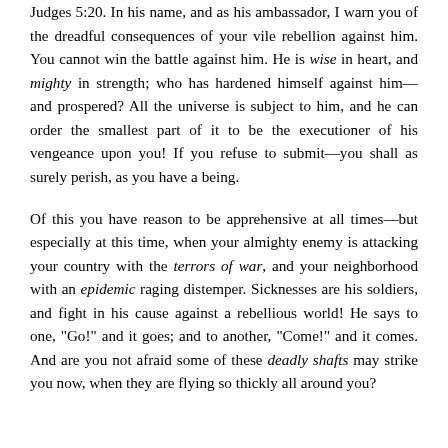Judges 5:20. In his name, and as his ambassador, I warn you of the dreadful consequences of your vile rebellion against him. You cannot win the battle against him. He is wise in heart, and mighty in strength; who has hardened himself against him—and prospered? All the universe is subject to him, and he can order the smallest part of it to be the executioner of his vengeance upon you! If you refuse to submit—you shall as surely perish, as you have a being.
Of this you have reason to be apprehensive at all times—but especially at this time, when your almighty enemy is attacking your country with the terrors of war, and your neighborhood with an epidemic raging distemper. Sicknesses are his soldiers, and fight in his cause against a rebellious world! He says to one, "Go!" and it goes; and to another, "Come!" and it comes. And are you not afraid some of these deadly shafts may strike you now, when they are flying so thickly all around you?